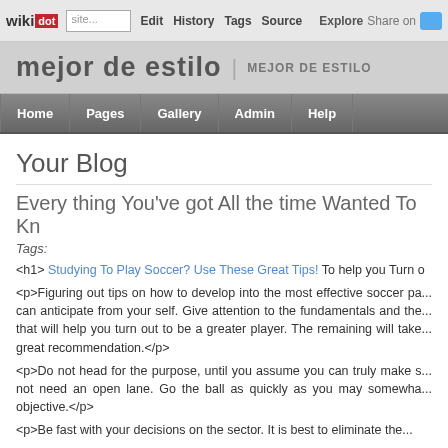wikidot | Edit | History | Tags | Source | Explore | Share on [Twitter]
mejor de estilo | MEJOR DE ESTILO
Home | Pages | Gallery | Admin | Help
Your Blog
Every thing You've got All the time Wanted To Kn...
Tags:
<h1> Studying To Play Soccer? Use These Great Tips! To help you Turn o...
<p>Figuring out tips on how to develop into the most effective soccer pa... can anticipate from your self. Give attention to the fundamentals and the... that will help you turn out to be a greater player. The remaining will take... great recommendation.</p>
<p>Do not head for the purpose, until you assume you can truly make s... not need an open lane. Go the ball as quickly as you may somewha... objective.</p>
<p>Be fast with your decisions on the sector. It is best to eliminate the...